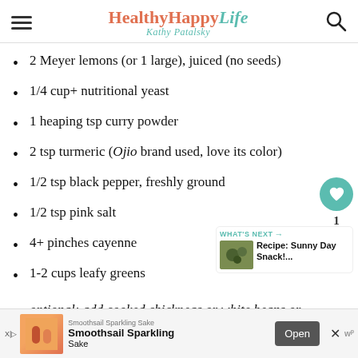HealthyHappyLife — Kathy Patalsky
2 Meyer lemons (or 1 large), juiced (no seeds)
1/4 cup+ nutritional yeast
1 heaping tsp curry powder
2 tsp turmeric (Ojio brand used, love its color)
1/2 tsp black pepper, freshly ground
1/2 tsp pink salt
4+ pinches cayenne
1-2 cups leafy greens
optional: add cooked chickpeas or white beans or
[Figure (other): Social sharing buttons: heart/favorite button with count '1', and share button]
[Figure (other): What's Next card: Recipe: Sunny Day Snack!... with food photo thumbnail]
[Figure (other): Advertisement banner: Smoothsail Sparkling Sake with Open button]